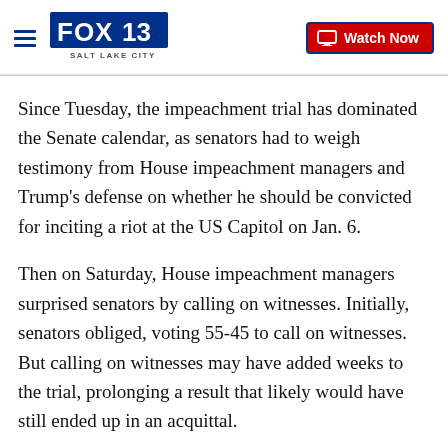FOX 13 SALT LAKE CITY | Watch Now
Since Tuesday, the impeachment trial has dominated the Senate calendar, as senators had to weigh testimony from House impeachment managers and Trump’s defense on whether he should be convicted for inciting a riot at the US Capitol on Jan. 6.
Then on Saturday, House impeachment managers surprised senators by calling on witnesses. Initially, senators obliged, voting 55-45 to call on witnesses. But calling on witnesses may have added weeks to the trial, prolonging a result that likely would have still ended up in an acquittal.
Following a chaotic recess in the US Senate on